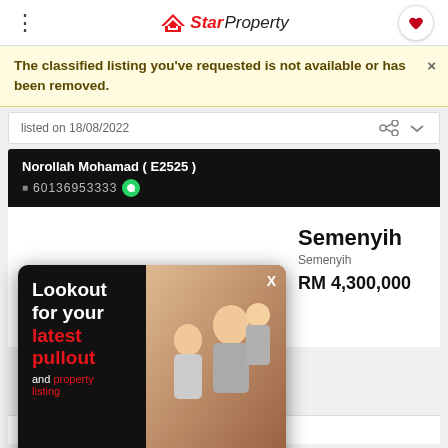StarProperty
The classified listing you've requested is not available or has been removed.
listed on 18/08/2022
Norollah Mohamad ( E2525 )
[Figure (screenshot): StarProperty popup ad: Lookout for your latest pullout and property listing — Star Property Pullout August Issue. Download Now *Digital Copy]
Semenyih
Semenyih
RM 4,300,000
9749 sq ft